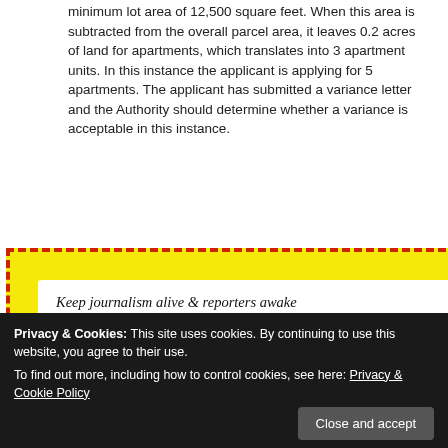minimum lot area of 12,500 square feet. When this area is subtracted from the overall parcel area, it leaves 0.2 acres of land for apartments, which translates into 3 apartment units. In this instance the applicant is applying for 5 apartments. The applicant has submitted a variance letter and the Authority should determine whether a variance is acceptable in this instance.
[Figure (screenshot): Yellow popup ad with red dashed border containing white inner box. Text reads 'Keep journalism alive & reporters awake' and 'Buy a cup of coffee for the CNS team' with an illustration of a blue coffee cup with steam. An X close button appears in the top right corner.]
es of land that s translates into uilding and the ms.
r setback is 20 rom the rear
Privacy & Cookies: This site uses cookies. By continuing to use this website, you agree to their use.
To find out more, including how to control cookies, see here: Privacy & Cookie Policy
Close and accept